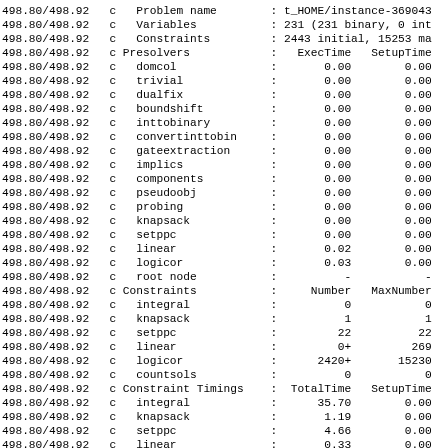Console output showing SCIP solver log with problem name t_HOME/instance-369043, variables 231 (231 binary, 0 int), constraints 2443 initial 15253 max, presolvers with ExecTime and SetupTime columns, constraint counts with Number and MaxNumber columns, and constraint timings with TotalTime and SetupTime columns.